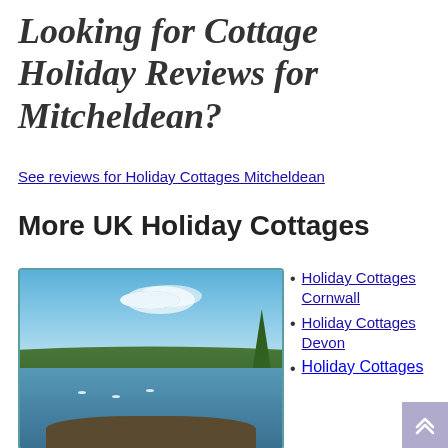Looking for Cottage Holiday Reviews for Mitcheldean?
See reviews for Holiday Cottages Mitcheldean
More UK Holiday Cottages
[Figure (photo): Scenic lakeside view with sailboats on calm water, surrounded by green hills and trees under a blue sky with clouds.]
Holiday Cottages Cornwall
Holiday Cottages Devon
Holiday Cottages